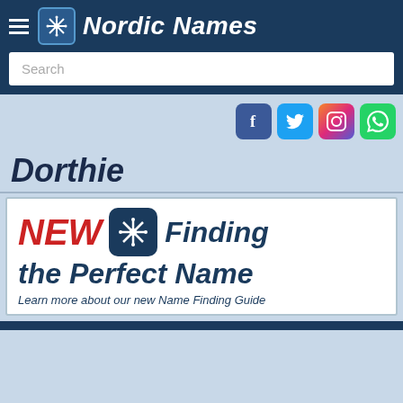Nordic Names
Dorthie
[Figure (infographic): Advertisement banner: NEW (red italic) with Nordic Names snowflake logo icon, Finding the Perfect Name (dark blue bold italic), Learn more about our new Name Finding Guide (italic)]